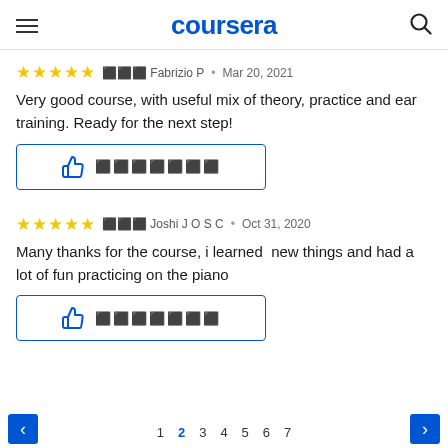coursera
⬛⬛⬛ Fabrizio P • Mar 20, 2021
Very good course, with useful mix of theory, practice and ear training. Ready for the next step!
⬛⬛⬛ Joshi J O S C • Oct 31, 2020
Many thanks for the course, i learned  new things and had a lot of fun practicing on the piano
1 2 3 4 5 6 7